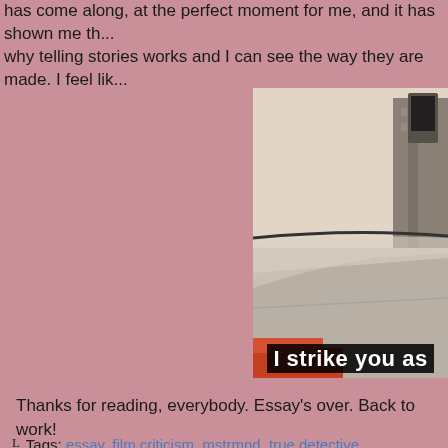has come along, at the perfect moment for me, and it has shown me th... why telling stories works and I can see the way they are made. I feel lik...
[Figure (screenshot): A sepia-toned screenshot from True Detective showing a car interior/exterior scene with a subtitle bar at the bottom reading 'I strike you as']
Thanks for reading, everybody. Essay's over. Back to work!
Tags: essay, film criticism, mstrmnd, true detective, truedetective
True Detective: Opening Credits
by Geoff on May 3, 2014 at 05:25